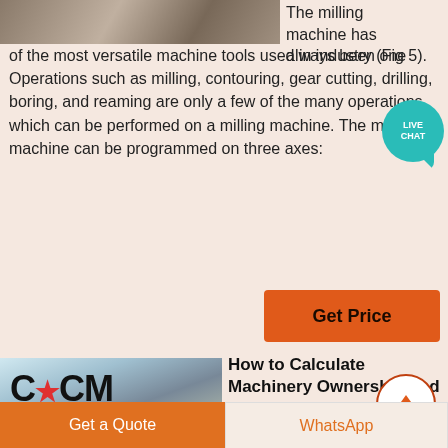[Figure (photo): Top strip photo of outdoor machinery or construction area]
The milling machine has always been one of the most versatile machine tools used in industry (Fig 5). Operations such as milling, contouring, gear cutting, drilling, boring, and reaming are only a few of the many operations which can be performed on a milling machine. The milling machine can be programmed on three axes:
[Figure (other): Live Chat bubble icon in teal]
[Figure (other): Get Price orange button]
[Figure (photo): CCM logo photo with construction site background]
How to Calculate Machinery Ownership and Operating Costs
For machines that
[Figure (other): Scroll to top circular button with upward arrow]
[Figure (other): Get a Quote orange button]
[Figure (other): WhatsApp button]